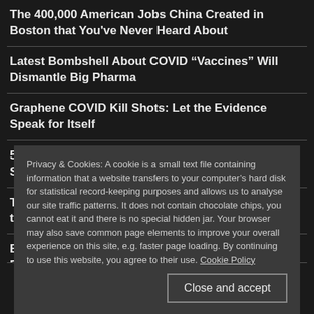The 400,000 American Jobs China Created in Boston that You've Never Heard About
Latest Bombshell About COVID “Vaccines” Will Dismantle Big Pharma
Graphene COVID Kill Shots: Let the Evidence Speak for Itself
57 Top Scientists and Doctors Release Shocking Study on COVID Vaccines
This One-Two Punch from China & Russia Marks the End of American Adventurism
Privacy & Cookies: A cookie is a small text file containing information that a website transfers to your computer’s hard disk for statistical record-keeping purposes and allows us to analyse our site traffic patterns. It does not contain chocolate chips, you cannot eat it and there is no special hidden jar. Your browser may also save common page elements to improve your overall experience on this site, e.g. faster page loading. By continuing to use this website, you agree to their use. Cookie Policy
Close and accept